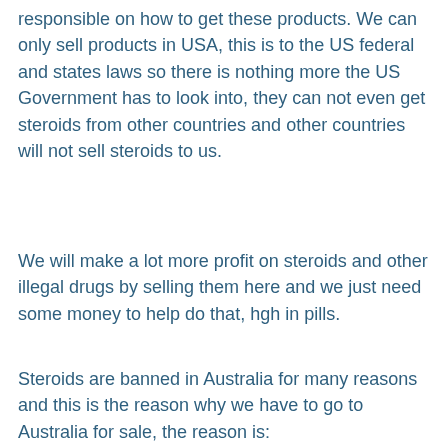responsible on how to get these products. We can only sell products in USA, this is to the US federal and states laws so there is nothing more the US Government has to look into, they can not even get steroids from other countries and other countries will not sell steroids to us.
We will make a lot more profit on steroids and other illegal drugs by selling them here and we just need some money to help do that, hgh in pills.
Steroids are banned in Australia for many reasons and this is the reason why we have to go to Australia for sale, the reason is:
- It is banned as an controlled substance by US Government and we want to provide the